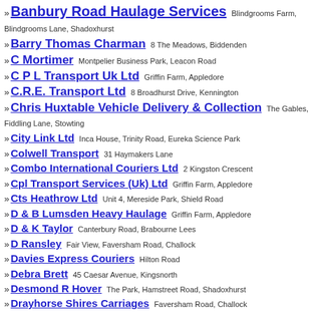» Banbury Road Haulage Services Blindgrooms Farm, Blindgrooms Lane, Shadoxhurst
» Barry Thomas Charman 8 The Meadows, Biddenden
» C Mortimer Montpelier Business Park, Leacon Road
» C P L Transport Uk Ltd Griffin Farm, Appledore
» C.R.E. Transport Ltd 8 Broadhurst Drive, Kennington
» Chris Huxtable Vehicle Delivery & Collection The Gables, Fiddling Lane, Stowting
» City Link Ltd Inca House, Trinity Road, Eureka Science Park
» Colwell Transport 31 Haymakers Lane
» Combo International Couriers Ltd 2 Kingston Crescent
» Cpl Transport Services (Uk) Ltd Griffin Farm, Appledore
» Cts Heathrow Ltd Unit 4, Mereside Park, Shield Road
» D & B Lumsden Heavy Haulage Griffin Farm, Appledore
» D & K Taylor Canterbury Road, Brabourne Lees
» D Ransley Fair View, Faversham Road, Challock
» Davies Express Couriers Hilton Road
» Debra Brett 45 Caesar Avenue, Kingsnorth
» Desmond R Hover The Park, Hamstreet Road, Shadoxhurst
» Drayhorse Shires Carriages Faversham Road, Challock
» Frantic Freight Ltd Lynwood, Main Road, Sellindge
» Goldstar Challenge Road
» Gse Plant Ltd Joshna House, Crowbridge Road, Orbital Park
» Guest Express Transport Ltd Unit 5, Mereside Park, Shield Road
» Herbert Henry & Michael F Pepper Hetherset, Bromley Green Road,